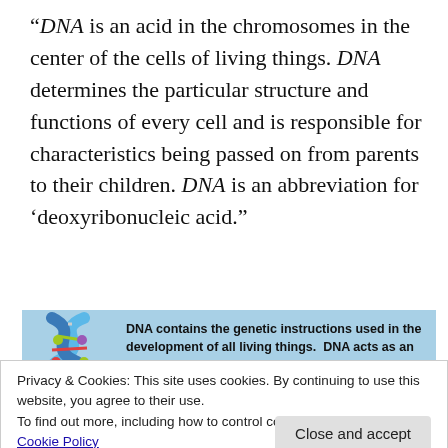“DNA is an acid in the chromosomes in the center of the cells of living things. DNA determines the particular structure and functions of every cell and is responsible for characteristics being passed on from parents to their children. DNA is an abbreviation for ‘deoxyribonucleic acid.”
[Figure (infographic): Blue info box with a DNA double helix illustration on the left and bold text on the right: 'DNA contains the genetic instructions used in the development of all living things. DNA acts as an organism’s blueprint that gives the instructions for which kinds of proteins each cell should make from']
Privacy & Cookies: This site uses cookies. By continuing to use this website, you agree to their use.
To find out more, including how to control cookies, see here:
Cookie Policy
that Donald Trump fathered a love child with a